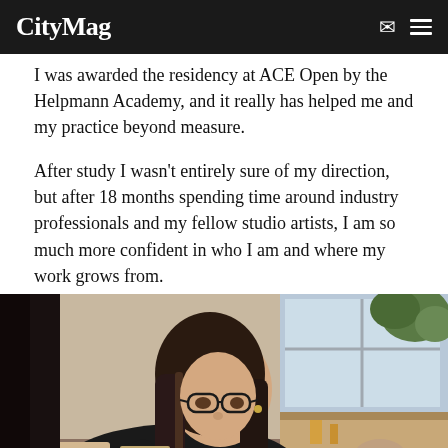CityMag
I was awarded the residency at ACE Open by the Helpmann Academy, and it really has helped me and my practice beyond measure.
After study I wasn't entirely sure of my direction, but after 18 months spending time around industry professionals and my fellow studio artists, I am so much more confident in who I am and where my work grows from.
[Figure (photo): A woman with dark hair and glasses leaning over a work surface in an art studio, focused on her work. Studio materials and a window are visible in the background.]